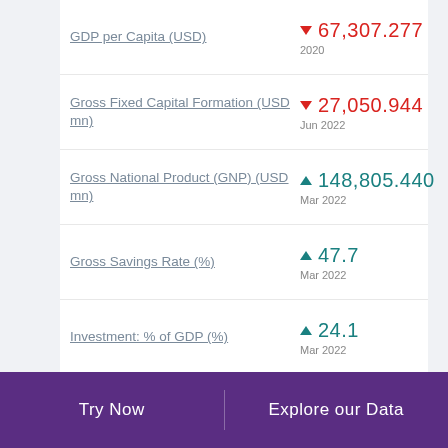GDP per Capita (USD) ▼ 67,307.277 2020
Gross Fixed Capital Formation (USD mn) ▼ 27,050.944 Jun 2022
Gross National Product (GNP) (USD mn) ▲ 148,805.440 Mar 2022
Gross Savings Rate (%) ▲ 47.7 Mar 2022
Investment: % of GDP (%) ▲ 24.1 Mar 2022
Try Now    Explore our Data